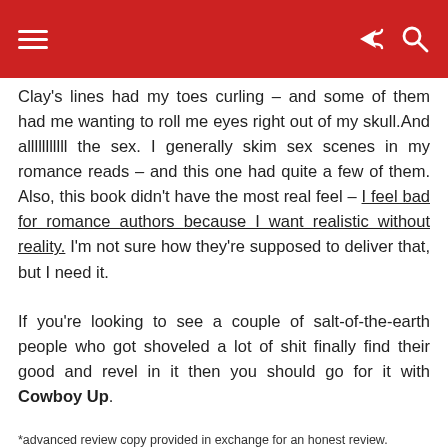Clay's lines had my toes curling – and some of them had me wanting to roll me eyes right out of my skull.And alllllllllll the sex. I generally skim sex scenes in my romance reads – and this one had quite a few of them. Also, this book didn't have the most real feel – I feel bad for romance authors because I want realistic without reality. I'm not sure how they're supposed to deliver that, but I need it.

If you're looking to see a couple of salt-of-the-earth people who got shoveled a lot of shit finally find their good and revel in it then you should go for it with Cowboy Up.
*advanced review copy provided in exchange for an honest review.